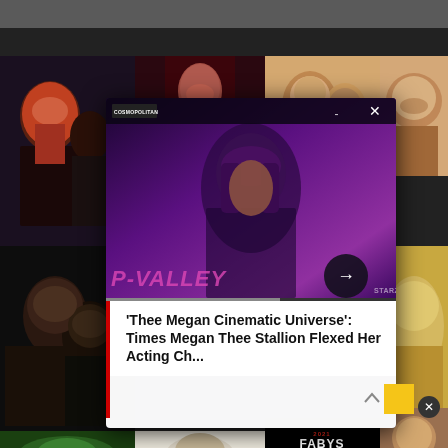[Figure (photo): Social media screenshot showing a collage of celebrity makeup/beauty photos including a makeup artist with a woman in red outfit, a woman in red dress, two women selfie, a man posing close-up, a man and woman selfie, women with beauty looks, and a FABYS 2021 Makeup Artist of the Year award card]
[Figure (screenshot): Video overlay popup showing Megan Thee Stallion with purple/pink P-VALLEY background, with a video player UI including logo, controls (dots and X icons), progress bar, and navigation arrow]
'Thee Megan Cinematic Universe': Times Megan Thee Stallion Flexed Her Acting Ch...